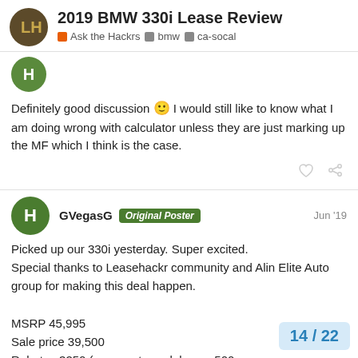2019 BMW 330i Lease Review
Ask the Hackrs · bmw · ca-socal
Definitely good discussion 🙂 I would still like to know what I am doing wrong with calculator unless they are just marking up the MF which I think is the case.
GVegasG Original Poster Jun '19
Picked up our 330i yesterday. Super excited.
Special thanks to Leasehackr community and Alin Elite Auto group for making this deal happen.

MSRP 45,995
Sale price 39,500
Rebates 3250 (conquest, grad, lease, 500…
Last minute OL code - $500 (lowered the c…
14 / 22